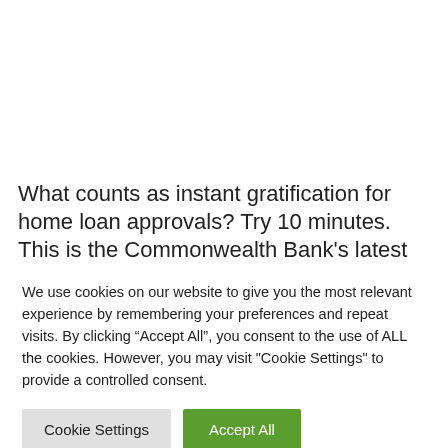What counts as instant gratification for home loan approvals? Try 10 minutes. This is the Commonwealth Bank's latest salvo on the mortgage market wars.
We use cookies on our website to give you the most relevant experience by remembering your preferences and repeat visits. By clicking “Accept All”, you consent to the use of ALL the cookies. However, you may visit "Cookie Settings" to provide a controlled consent.